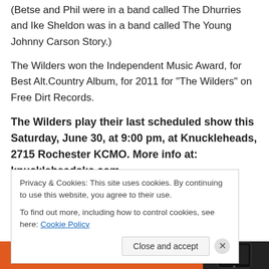(Betse and Phil were in a band called The Dhurries and Ike Sheldon was in a band called The Young Johnny Carson Story.)
The Wilders won the Independent Music Award, for Best Alt.Country Album, for 2011 for “The Wilders” on Free Dirt Records.
The Wilders play their last scheduled show this Saturday, June 30, at 9:00 pm, at Knuckleheads, 2715 Rochester KCMO. More info at: knuckleheadskc.com
Privacy & Cookies: This site uses cookies. By continuing to use this website, you agree to their use.
To find out more, including how to control cookies, see here: Cookie Policy
[Figure (screenshot): Orange ad banner at bottom with text 'Search, browse, and' and a phone graphic on the right]